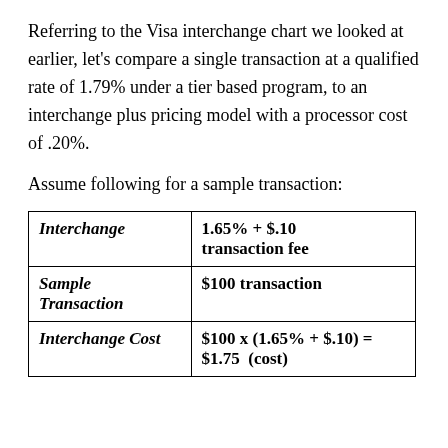Referring to the Visa interchange chart we looked at earlier, let's compare a single transaction at a qualified rate of 1.79% under a tier based program, to an interchange plus pricing model with a processor cost of .20%.
Assume following for a sample transaction:
| Interchange | 1.65% + $.10 transaction fee |
| Sample Transaction | $100 transaction |
| Interchange Cost | $100 x (1.65% + $.10) = $1.75  (cost) |